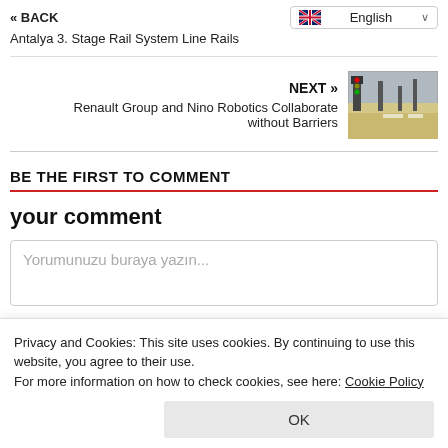« BACK
Antalya 3. Stage Rail System Line Rails
English
NEXT »
Renault Group and Nino Robotics Collaborate without Barriers
BE THE FIRST TO COMMENT
your comment
Yorumunuzu buraya yazın...
Privacy and Cookies: This site uses cookies. By continuing to use this website, you agree to their use.
For more information on how to check cookies, see here: Cookie Policy
OK